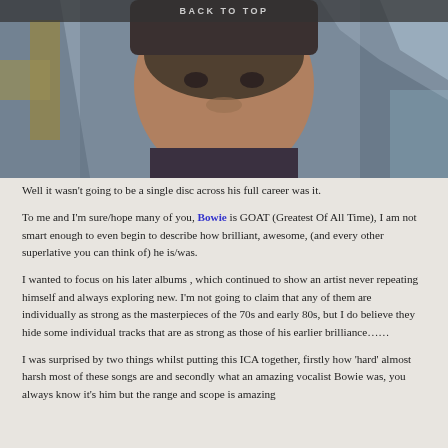BACK TO TOP
[Figure (photo): Close-up portrait photo of an older man wearing a dark hat, with colorful abstract art in the background featuring yellow, blue, and grey tones.]
Well it wasn't going to be a single disc across his full career was it.
To me and I'm sure/hope many of you, Bowie is GOAT (Greatest Of All Time), I am not smart enough to even begin to describe how brilliant, awesome, (and every other superlative you can think of) he is/was.
I wanted to focus on his later albums , which continued to show an artist never repeating himself and always exploring new. I'm not going to claim that any of them are individually as strong as the masterpieces of the 70s and early 80s, but I do believe they hide some individual tracks that are as strong as those of his earlier brilliance……
I was surprised by two things whilst putting this ICA together, firstly how 'hard' almost harsh most of these songs are and secondly what an amazing vocalist Bowie was, you always know it's him but the range and scope is amazing